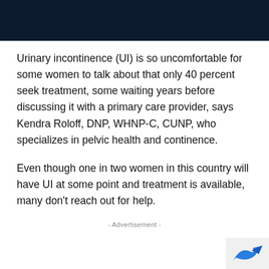[Figure (other): Dark navy blue header bar at the top of the page]
Urinary incontinence (UI) is so uncomfortable for some women to talk about that only 40 percent seek treatment, some waiting years before discussing it with a primary care provider, says Kendra Roloff, DNP, WHNP-C, CUNP, who specializes in pelvic health and continence.
Even though one in two women in this country will have UI at some point and treatment is available, many don't reach out for help.
- Advertisement -
[Figure (logo): Partial blue arrow/logo icon in the bottom right corner]